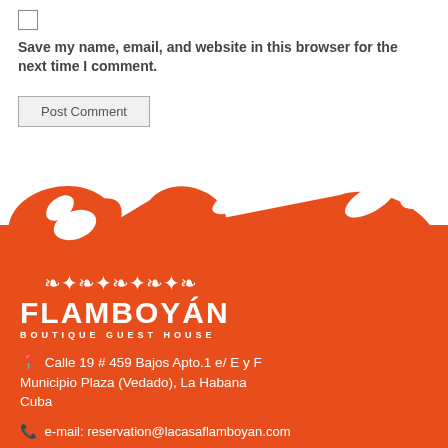Save my name, email, and website in this browser for the next time I comment.
Post Comment
[Figure (illustration): Orange decorative floral/scroll ornament graphic used as a divider between the comment form and the footer section.]
[Figure (logo): Flamboyan Boutique Guest House logo: white decorative flourish above the text FLAMBOYAN in large bold white letters, with BOUTIQUE GUEST HOUSE in small spaced white letters below, on orange background.]
Calle 19 # 459 Bajos Apto.1 e/ E y F Municipio Plaza (Vedado), La Habana Cuba
e-mail: reservation@lacasaflamboyan.com